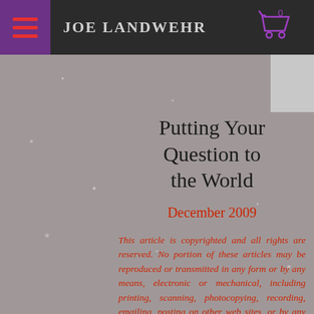Joe Landwehr
[Figure (screenshot): Background image with bokeh/starry effect in muted gray-red tones, silhouette of a bird at the bottom]
Putting Your Question to the World
December 2009
This article is copyrighted and all rights are reserved. No portion of these articles may be reproduced or transmitted in any form or by any means, electronic or mechanical, including printing, scanning, photocopying, recording, emailing, posting on other web sites, or by any other information storage and retrieval or distribution system, without permission in writing from the